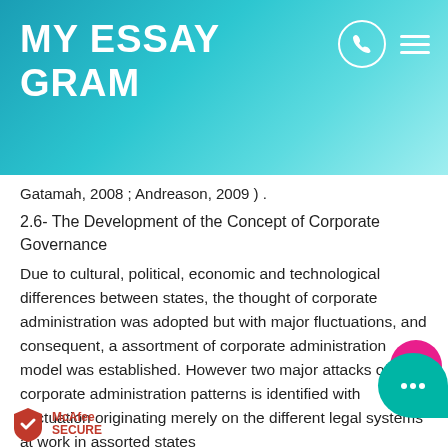MY ESSAY GRAM
Gatamah, 2008 ; Andreason, 2009 ) .
2.6- The Development of the Concept of Corporate Governance
Due to cultural, political, economic and technological differences between states, the thought of corporate administration was adopted but with major fluctuations, and consequent, a assortment of corporate administration model was established. However two major attacks of corporate administration patterns is identified with fluctuation originating merely on the different legal systems at work in assorted states
Harmonizing to Solomon and Solomon, ( 2004 ) , Department of Treasury ( ,1997 ) ; states that patterns common ince like united provinces of America, united kingd